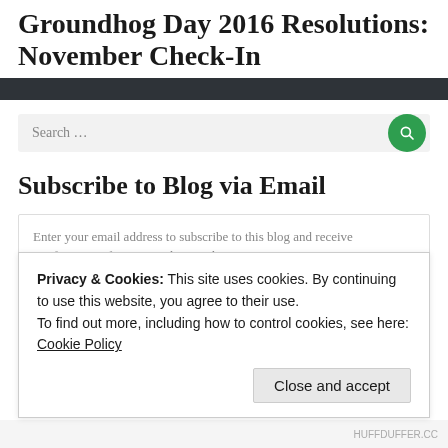Groundhog Day 2016 Resolutions: November Check-In
[Figure (other): Dark navigation bar separator]
Search ...
Subscribe to Blog via Email
Enter your email address to subscribe to this blog and receive notifications of new posts by email.
Email Address
Privacy & Cookies: This site uses cookies. By continuing to use this website, you agree to their use.
To find out more, including how to control cookies, see here:
Cookie Policy
Close and accept